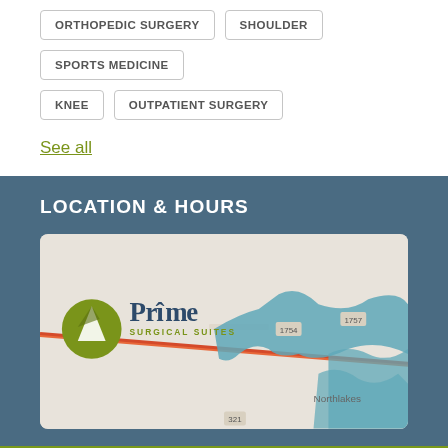ORTHOPEDIC SURGERY
SHOULDER
SPORTS MEDICINE
KNEE
OUTPATIENT SURGERY
See all
LOCATION & HOURS
[Figure (map): Google Maps view showing Prime Surgical Suites location with logo overlay. Map shows roads, waterways, and Northlakes area label with road markers 1754, 1757, 321.]
Learn more about Prime